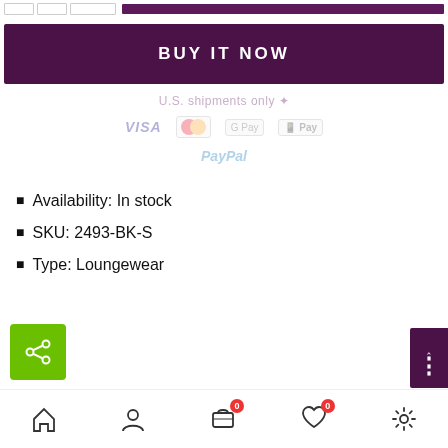[Figure (screenshot): Top bar with size selector boxes and a purple bar]
[Figure (screenshot): BUY IT NOW button in deep purple]
U.S. shipments only
[Figure (screenshot): Payment icons: Visa, Mastercard, Google Pay, Apple Pay, PayPal — faded/watermarked]
Availability: In stock
SKU: 2493-BK-S
Type: Loungewear
[Figure (screenshot): Green share button with share icon]
[Figure (screenshot): Purple dots/more options button with chevron up and three dots]
[Figure (screenshot): Bottom navigation bar with home, user, cart (badge 0), wishlist (badge 0), and settings icons]